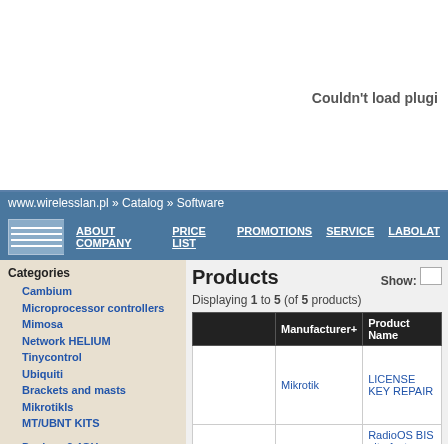[Figure (screenshot): Browser plugin area showing 'Couldn't load plugin' message on white background]
www.wirelesslan.pl » Catalog » Software
ABOUT COMPANY  PRICE LIST  PROMOTIONS  SERVICE  LABOLAT
Categories
Cambium
Microprocessor controllers
Mimosa
Network HELIUM
Tinycontrol
Ubiquiti
Brackets and masts
MikrotikIs
MT/UBNT KITS
Devices 2,4GHz
Devices 5GHz
WLAN Platform
Microwave links
Antennas 2,4GHz
Antennas 5GHz
Products
Displaying 1 to 5 (of 5 products)
|  | Manufacturer+ | Product Name |
| --- | --- | --- |
|  | Mikrotik | LICENSE KEY REPAIR |
|  | ASN | RadioOS BIS ultrafast bridg... RouterStation PRO |
|  | ASN | RadioOS PRIME ultrafast b... for RouterBoards |